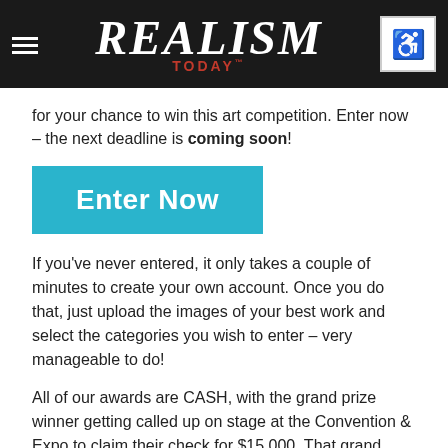REALISM TODAY
for your chance to win this art competition. Enter now – the next deadline is coming soon!
[Figure (other): Cyan 'Enter Now' button]
If you've never entered, it only takes a couple of minutes to create your own account. Once you do that, just upload the images of your best work and select the categories you wish to enter – very manageable to do!
All of our awards are CASH, with the grand prize winner getting called up on stage at the Convention & Expo to claim their check for $15,000. That grand prize winner will also have their winning painting featured on the cover of PleinAir